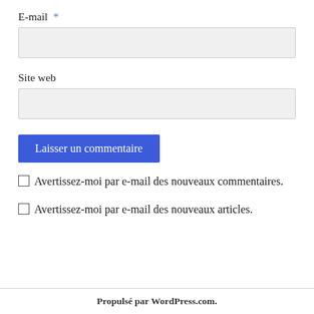E-mail *
Site web
Laisser un commentaire
Avertissez-moi par e-mail des nouveaux commentaires.
Avertissez-moi par e-mail des nouveaux articles.
Propulsé par WordPress.com.